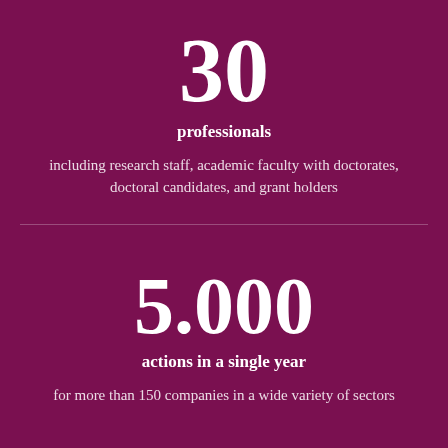30
professionals
including research staff, academic faculty with doctorates, doctoral candidates, and grant holders
5.000
actions in a single year
for more than 150 companies in a wide variety of sectors